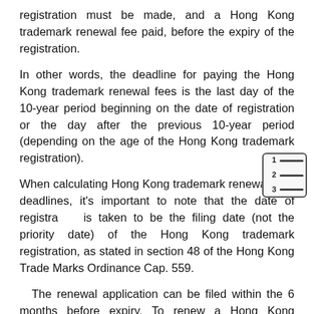registration must be made, and a Hong Kong trademark renewal fee paid, before the expiry of the registration.
In other words, the deadline for paying the Hong Kong trademark renewal fees is the last day of the 10-year period beginning on the date of registration or the day after the previous 10-year period (depending on the age of the Hong Kong trademark registration).
When calculating Hong Kong trademark renewal fees deadlines, it's important to note that the date of registration is taken to be the filing date (not the priority date) of the Hong Kong trademark registration, as stated in section 48 of the Hong Kong Trade Marks Ordinance Cap. 559.
The renewal application can be filed within the 6 months before expiry. To renew a Hong Kong trademark registration, a request for renewal must be submitted within the applicable deadline to the Hong Kong Intellectual Property Department (IPD) using official form T8. The